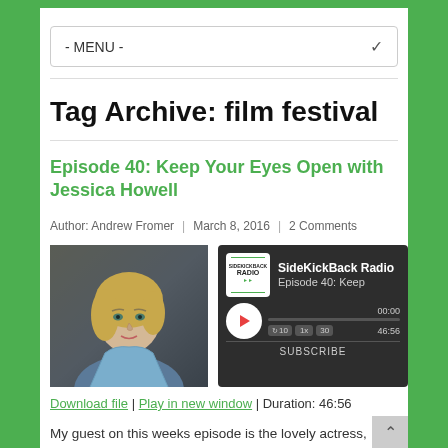- MENU -
Tag Archive: film festival
Episode 40: Keep Your Eyes Open with Jessica Howell
Author: Andrew Fromer | March 8, 2016 | 2 Comments
[Figure (photo): Portrait photo of Jessica Howell, a blonde woman in a blue denim shirt against a dark background]
[Figure (screenshot): SideKickBack Radio podcast player widget showing Episode 40: Keep, with play button, progress bar, speed controls (10, 1x, 30), time 00:00 / 46:56, and SUBSCRIBE button]
Download file | Play in new window | Duration: 46:56
My guest on this weeks episode is the lovely actress, writer, producer Jessica Howell. She's been a part of such great projects as Eleanora: The Forgotten Princess, the phenomenal